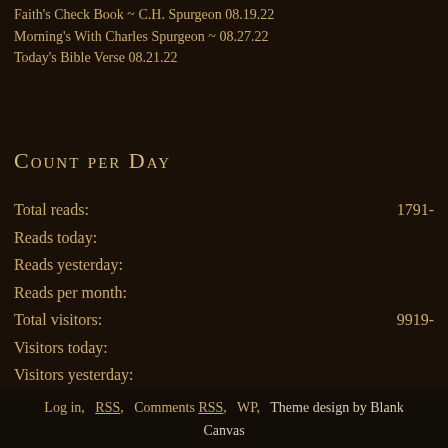Faith's Check Book ~ C.H. Spurgeon 08.19.22
Morning's With Charles Spurgeon ~ 08.27.22
Today's Bible Verse 08.21.22
Count per Day
Total reads: 1791-
Reads today:
Reads yesterday:
Reads per month:
Total visitors: 9919-
Visitors today:
Visitors yesterday:
Visitors per month:
Visitors per day:
Visitors currently online:
Log in,  RSS,  Comments RSS,  WP,  Theme design by Blank Canvas